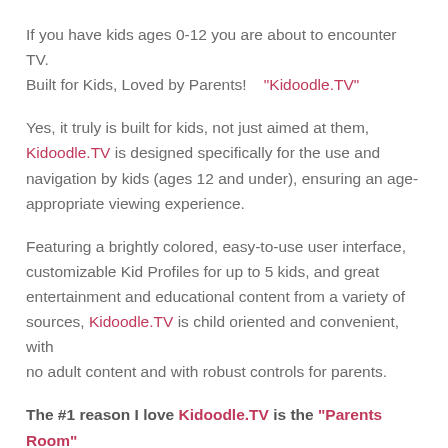If you have kids ages 0-12 you are about to encounter  TV. Built for Kids, Loved by Parents!    "Kidoodle.TV"
Yes, it truly is built for kids, not just aimed at them, Kidoodle.TV is designed specifically for the use and navigation by kids (ages 12 and under), ensuring an age-appropriate viewing experience.
Featuring a brightly colored, easy-to-use user interface, customizable Kid Profiles for up to 5 kids, and great entertainment and educational content from a variety of sources, Kidoodle.TV is child oriented and convenient, with no adult content and with robust controls for parents.
The #1 reason I love Kidoodle.TV is the "Parents Room"